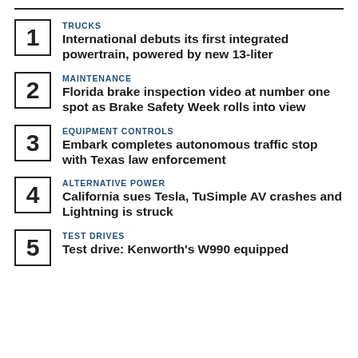TRUCKS
International debuts its first integrated powertrain, powered by new 13-liter
MAINTENANCE
Florida brake inspection video at number one spot as Brake Safety Week rolls into view
EQUIPMENT CONTROLS
Embark completes autonomous traffic stop with Texas law enforcement
ALTERNATIVE POWER
California sues Tesla, TuSimple AV crashes and Lightning is struck
TEST DRIVES
Test drive: Kenworth's W990 equipped